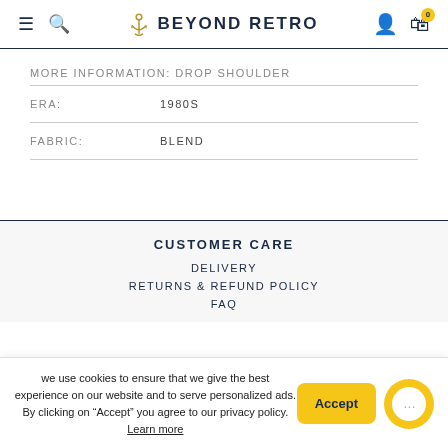Beyond Retro
MORE INFORMATION: DROP SHOULDER
| ERA: | 1980S |
| FABRIC: | BLEND |
CUSTOMER CARE
DELIVERY
RETURNS & REFUND POLICY
FAQ
we use cookies to ensure that we give the best experience on our website and to serve personalized ads. By clicking on "Accept" you agree to our privacy policy. Learn more